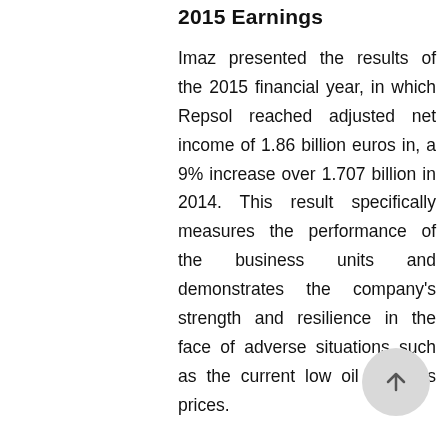2015 Earnings
Imaz presented the results of the 2015 financial year, in which Repsol reached adjusted net income of 1.86 billion euros in, a 9% increase over 1.707 billion in 2014. This result specifically measures the performance of the business units and demonstrates the company's strength and resilience in the face of adverse situations such as the current low oil and gas prices.
In 2015, Repsol's integrated business model demonstrated its value, as the positive results in Downstream (Refining, Chemicals, Marketing, Trading, LPG and Gas & Power) helped to offset the impact of low oil and gas prices on Upstream